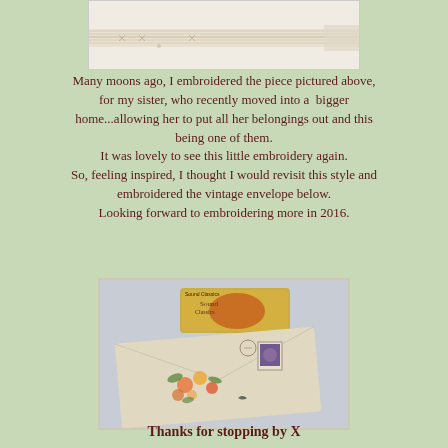[Figure (photo): Close-up photo of embroidered fabric with cream/white threads on a light background]
Many moons ago, I embroidered the piece pictured above, for my sister, who recently moved into a  bigger home...allowing her to put all her belongings out and this being one of them.
It was lovely to see this little embroidery again.
So, feeling inspired, I thought I would revisit this style and embroidered the vintage envelope below.
Looking forward to embroidering more in 2016.
[Figure (photo): Photo of a vintage floral envelope with a postage stamp, alongside a decorative tin]
Thanks for stopping by X